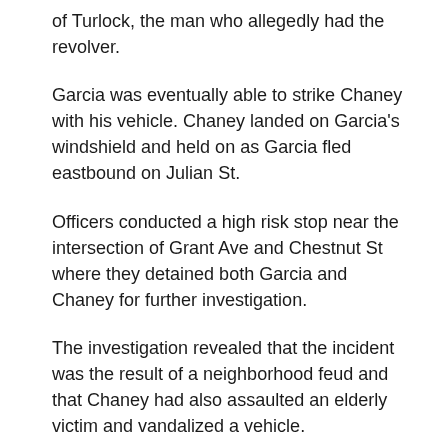of Turlock, the man who allegedly had the revolver.
Garcia was eventually able to strike Chaney with his vehicle. Chaney landed on Garcia’s windshield and held on as Garcia fled eastbound on Julian St.
Officers conducted a high risk stop near the intersection of Grant Ave and Chestnut St where they detained both Garcia and Chaney for further investigation.
The investigation revealed that the incident was the result of a neighborhood feud and that Chaney had also assaulted an elderly victim and vandalized a vehicle.
The revolver that Chaney was alleged to have was never located.
Chaney suffered minor injuries as a result of being